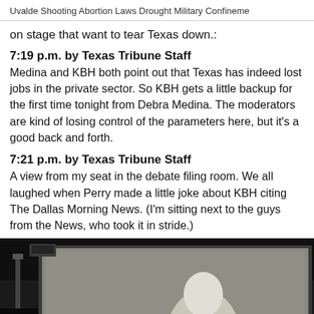Uvalde Shooting    Abortion Laws    Drought    Military Confineme…
on stage that want to tear Texas down.:
7:19 p.m. by Texas Tribune Staff
Medina and KBH both point out that Texas has indeed lost jobs in the private sector. So KBH gets a little backup for the first time tonight from Debra Medina. The moderators are kind of losing control of the parameters here, but it's a good back and forth.
7:21 p.m. by Texas Tribune Staff
A view from my seat in the debate filing room. We all laughed when Perry made a little joke about KBH citing The Dallas Morning News. (I'm sitting next to the guys from the News, who took it in stride.)
[Figure (photo): A dark photo showing a projection screen in what appears to be a debate filing room, with a figure illuminated on the screen against a dark background.]